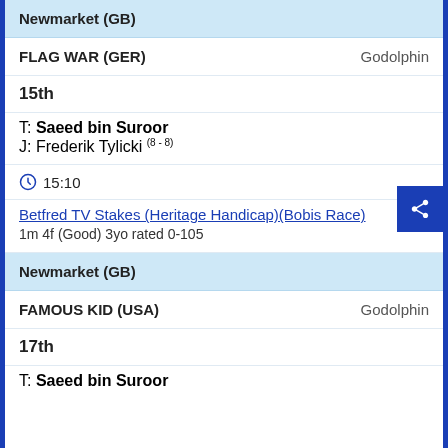Newmarket (GB)
FLAG WAR (GER)   Godolphin
15th
T: Saeed bin Suroor
J: Frederik Tylicki (8-8)
15:10
Betfred TV Stakes (Heritage Handicap)(Bobis Race)
1m 4f (Good) 3yo rated 0-105
Newmarket (GB)
FAMOUS KID (USA)   Godolphin
17th
T: Saeed bin Suroor